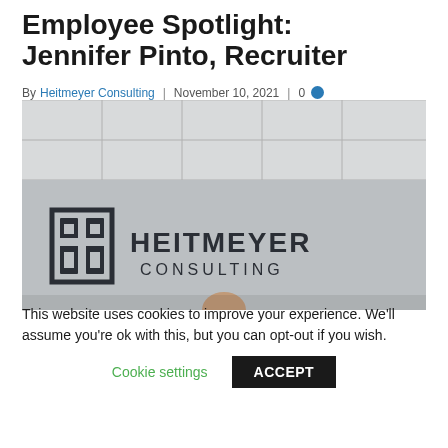Employee Spotlight: Jennifer Pinto, Recruiter
By Heitmeyer Consulting | November 10, 2021 | 0
[Figure (photo): Photo of Jennifer Pinto standing in front of the Heitmeyer Consulting logo on a grey wall in an office setting with a tiled ceiling]
This website uses cookies to improve your experience. We'll assume you're ok with this, but you can opt-out if you wish.
Cookie settings  ACCEPT